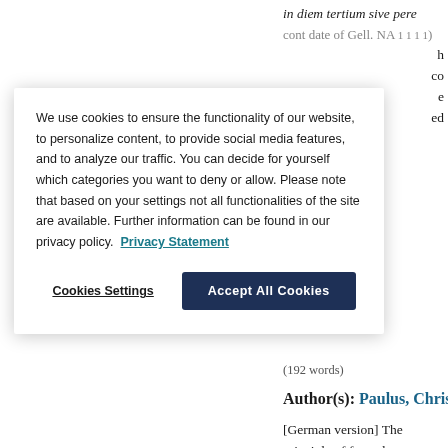Prob. 4,9: in diem tertium sive perendinum
We use cookies to ensure the functionality of our website, to personalize content, to provide social media features, and to analyze our traffic. You can decide for yourself which categories you want to deny or allow. Please note that based on your settings not all functionalities of the site are available. Further information can be found in our privacy policy. Privacy Statement
(192 words)
Author(s): Paulus, Christoph
[German version] The principle of formulary procedure (Gai. Inst. 4,4 procedure for all actions not aimed money value. Both process and res are called aestimatio litis.; it was ca by the plaintiff ( iusiurandum in lit